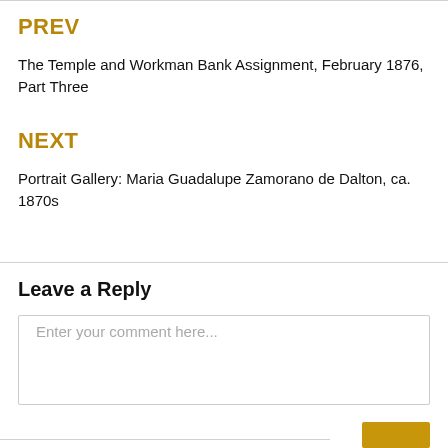PREV
The Temple and Workman Bank Assignment, February 1876, Part Three
NEXT
Portrait Gallery: Maria Guadalupe Zamorano de Dalton, ca. 1870s
Leave a Reply
Enter your comment here...